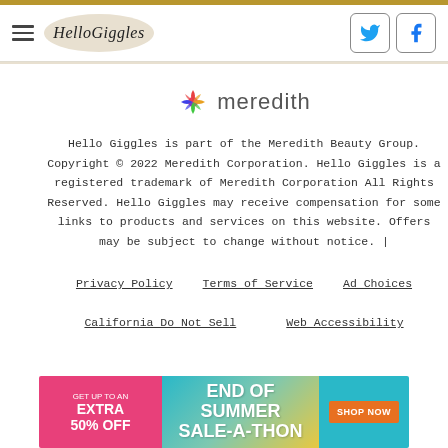HelloGiggles
[Figure (logo): Meredith logo with colorful flower/knot icon and 'meredith' text]
Hello Giggles is part of the Meredith Beauty Group. Copyright © 2022 Meredith Corporation. Hello Giggles is a registered trademark of Meredith Corporation All Rights Reserved. Hello Giggles may receive compensation for some links to products and services on this website. Offers may be subject to change without notice. |
Privacy Policy   Terms of Service   Ad Choices
California Do Not Sell   Web Accessibility
[Figure (infographic): Advertisement banner: GET UP TO AN EXTRA 50% OFF | END OF SUMMER SALE-A-THON | SHOP NOW button]